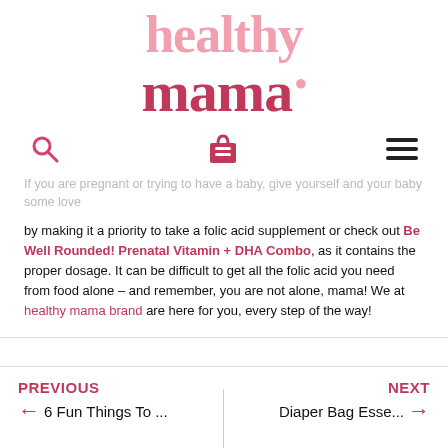healthy mama
If you are pregnant or trying to have a baby, give yourself and your baby some love by making it a priority to take a folic acid supplement or check out Be Well Rounded! Prenatal Vitamin + DHA Combo, as it contains the proper dosage. It can be difficult to get all the folic acid you need from food alone – and remember, you are not alone, mama! We at healthy mama brand are here for you, every step of the way!
PREVIOUS ← 6 Fun Things To ...
NEXT Diaper Bag Esse... →